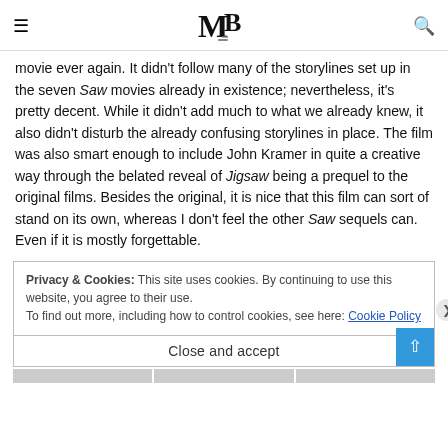MB logo, hamburger menu, search icon
movie ever again. It didn't follow many of the storylines set up in the seven Saw movies already in existence; nevertheless, it's pretty decent. While it didn't add much to what we already knew, it also didn't disturb the already confusing storylines in place. The film was also smart enough to include John Kramer in quite a creative way through the belated reveal of Jigsaw being a prequel to the original films. Besides the original, it is nice that this film can sort of stand on its own, whereas I don't feel the other Saw sequels can. Even if it is mostly forgettable.
Privacy & Cookies: This site uses cookies. By continuing to use this website, you agree to their use.
To find out more, including how to control cookies, see here: Cookie Policy
Close and accept